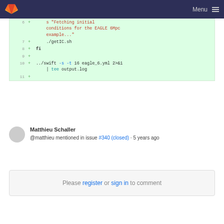GitLab navigation bar with logo and Menu
[Figure (screenshot): Code diff block showing lines 6-11 of a shell script with added lines highlighted in green. Line 6 (partial, red text): '...s "Fetching initial conditions for the EAGLE 6Mpc example..."'. Line 7 +: './getIC.sh'. Line 8 +: 'fi'. Line 9 +. Line 10 +: '../swift -s -t 16 eagle_6.yml 2>&1 | tee output.log'. Line 11 +.]
Matthieu Schaller @matthieu mentioned in issue #340 (closed) · 5 years ago
Please register or sign in to comment